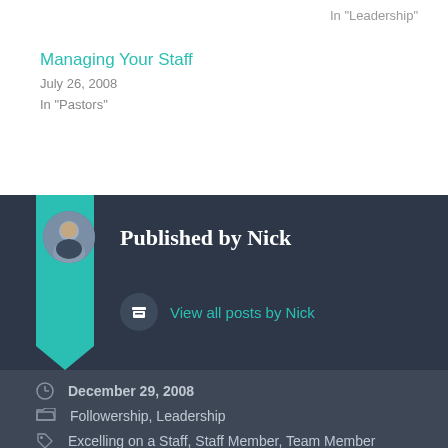In "Leadership"
Managing Your Staff
July 26, 2008
In "Pastors"
Published by Nick
View all posts by Nick
December 29, 2008
Followership, Leadership
Excelling on a Staff, Staff Member, Team Member